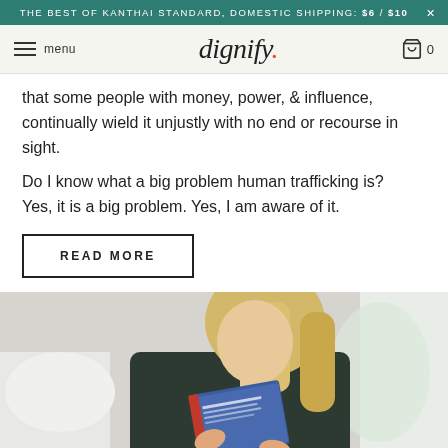THE BEST OF KANTHAI STANDARD, DOMESTIC SHIPPING: $6 / $10 ×
menu | dignify. | 0
that some people with money, power, & influence, continually wield it unjustly with no end or recourse in sight.
Do I know what a big problem human trafficking is? Yes, it is a big problem. Yes, I am aware of it.
READ MORE
[Figure (photo): Young woman with long blonde hair wearing a dark top, sitting on a bed reading a book with a blue cover.]